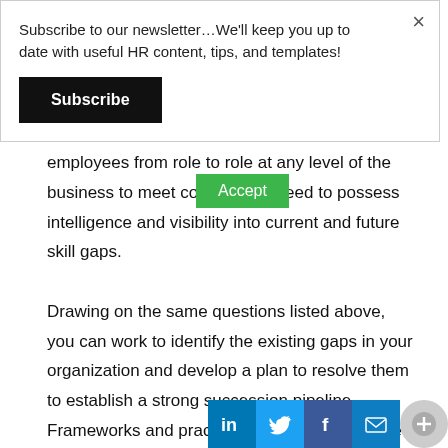Subscribe to our newsletter…We'll keep you up to date with useful HR content, tips, and templates!
Subscribe
×
Accept
employees from role to role at any level of the business to meet com als, you need to possess intelligence and visibility into current and future skill gaps.
Drawing on the same questions listed above, you can work to identify the existing gaps in your organization and develop a plan to resolve them to establish a strong succession pipeline. Frameworks and practices to ve st ca and close skill gaps is a requirement to any
[Figure (infographic): Social sharing bar with LinkedIn, Twitter, Facebook, Email, and a plus button]